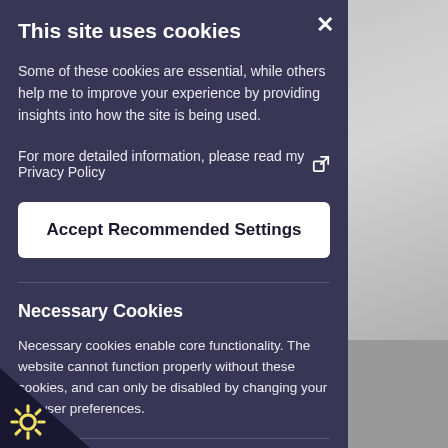This site uses cookies
Some of these cookies are essential, while others help me to improve your experience by providing insights into how the site is being used.
For more detail information, please read my Privacy Policy
Accept Recommended Settings
Necessary Cookies
Necessary cookies enable core functionality. The website cannot function properly without these cookies, and can only be disabled by changing your browser preferences.
urity Cookies
ply and ensure the website's security settings.